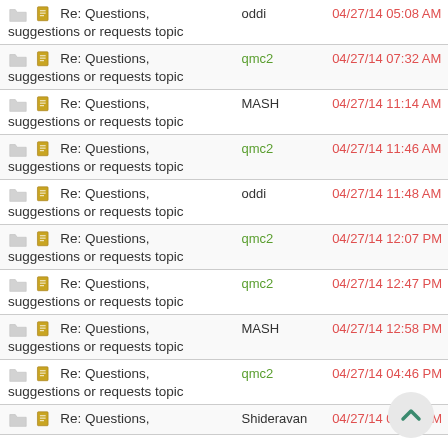| Topic | Author | Date |
| --- | --- | --- |
| Re: Questions, suggestions or requests topic | oddi | 04/27/14 05:08 AM |
| Re: Questions, suggestions or requests topic | qmc2 | 04/27/14 07:32 AM |
| Re: Questions, suggestions or requests topic | MASH | 04/27/14 11:14 AM |
| Re: Questions, suggestions or requests topic | qmc2 | 04/27/14 11:46 AM |
| Re: Questions, suggestions or requests topic | oddi | 04/27/14 11:48 AM |
| Re: Questions, suggestions or requests topic | qmc2 | 04/27/14 12:07 PM |
| Re: Questions, suggestions or requests topic | qmc2 | 04/27/14 12:47 PM |
| Re: Questions, suggestions or requests topic | MASH | 04/27/14 12:58 PM |
| Re: Questions, suggestions or requests topic | qmc2 | 04/27/14 04:46 PM |
| Re: Questions, | Shideravan | 04/27/14 05:46 PM |